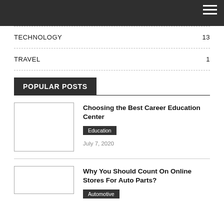TECHNOLOGY 13
TRAVEL 1
POPULAR POSTS
Choosing the Best Career Education Center
Education
July 7, 2020
Why You Should Count On Online Stores For Auto Parts?
Automotive